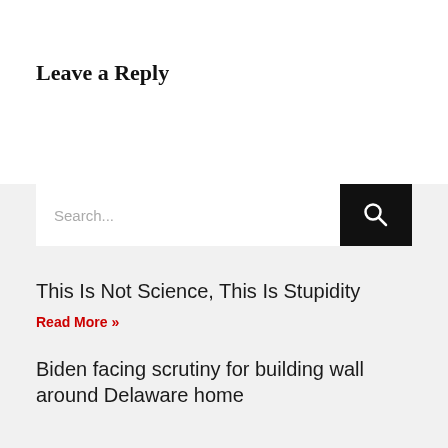Leave a Reply
[Figure (screenshot): Search bar with text input showing placeholder 'Search...' and a black search button with magnifying glass icon]
This Is Not Science, This Is Stupidity
Read More »
Biden facing scrutiny for building wall around Delaware home